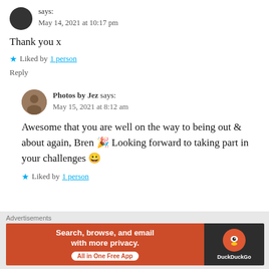says: May 14, 2021 at 10:17 pm
Thank you x
★ Liked by 1 person
Reply
Photos by Jez says: May 15, 2021 at 8:12 am
Awesome that you are well on the way to being out & about again, Bren 🎉 Looking forward to taking part in your challenges 😀
★ Liked by 1 person
Advertisements
[Figure (screenshot): DuckDuckGo advertisement banner: 'Search, browse, and email with more privacy. All in One Free App' with DuckDuckGo logo on dark background.]